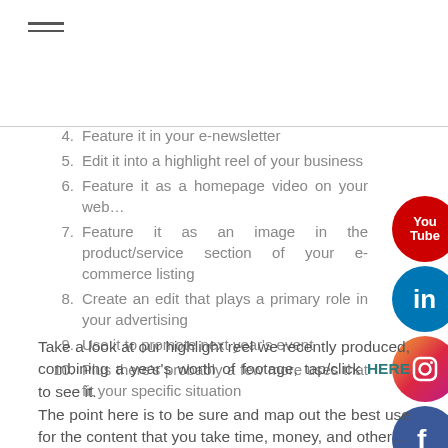[Figure (other): Hamburger menu icon (three horizontal lines)]
4. Feature it in your e-newsletter
5. Edit it into a highlight reel of your business
6. Feature it as a homepage video on your web…
7. Feature it as an image in the product/service section of your e-commerce listing
8. Create an edit that plays a primary role in your advertising
9. Use it to promote next year's event
10. Plus there's probably a few more uses that fit your specific situation
[Figure (other): Social media icons on right side: YouTube, LinkedIn, Instagram, Facebook]
Take a look at our highlight reel we recently produced, combining a year's worth of footage, tap/click HERE to see it.
The point here is to be sure and map out the best use for the content that you take time, money, and other…